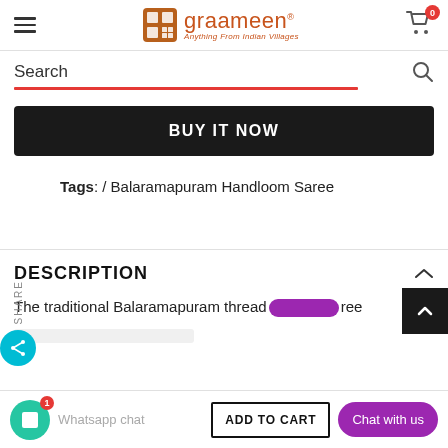graameen - Anything From Indian Villages
Search
BUY IT NOW
Tags: / Balaramapuram Handloom Saree
DESCRIPTION
The traditional Balaramapuram thread saree
Whatsapp chat
ADD TO CART
Chat with us